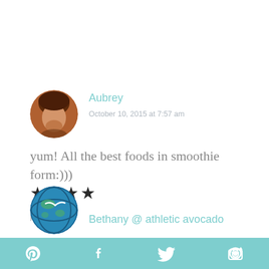[Figure (photo): Circular avatar of Aubrey, a woman with dark hair]
Aubrey
October 10, 2015 at 7:57 am
yum! All the best foods in smoothie form:)))
★★★★
REPLY
[Figure (photo): Circular avatar of Bethany @ athletic avocado, globe/earth image]
Bethany @ athletic avocado
[Figure (infographic): Social sharing bar with Pinterest, Facebook, Twitter, and another icon on teal background]